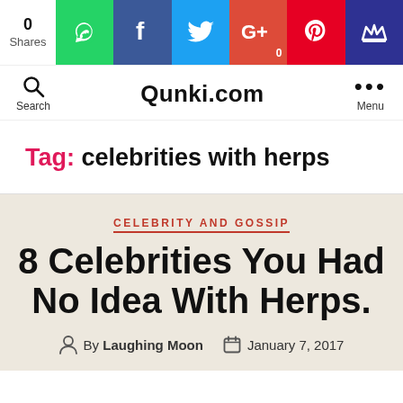[Figure (screenshot): Social share bar with 0 Shares count and colored buttons for WhatsApp, Facebook, Twitter, Google+, Pinterest, and Yummly]
Qunki.com with Search and Menu navigation
Tag: celebrities with herps
CELEBRITY AND GOSSIP
8 Celebrities You Had No Idea With Herps.
By Laughing Moon  January 7, 2017